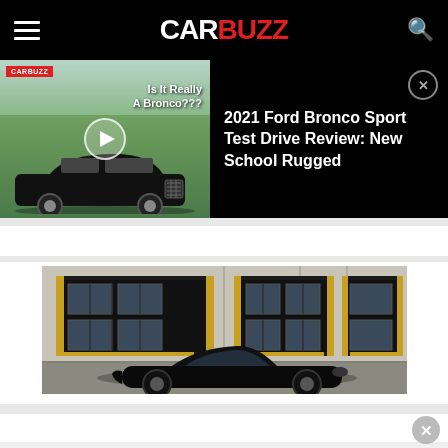CARBUZZ
[Figure (screenshot): CarBuzz video thumbnail showing a black Ford Bronco Sport SUV with overlay text 'Is It Really A Bronco???' and a play button]
2021 Ford Bronco Sport Test Drive Review: New School Rugged
[Figure (photo): A black classic convertible sports car parked in front of a building with black garage doors with gold trim]